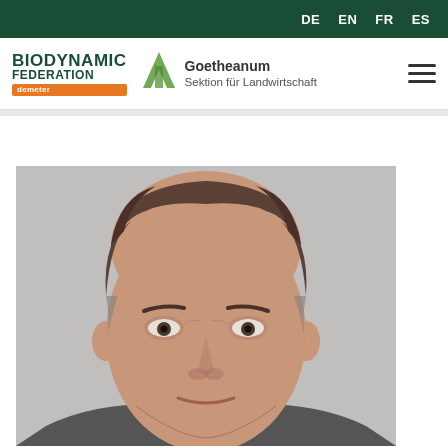DE EN FR ES
[Figure (logo): Biodynamic Federation demeter logo and Goetheanum Sektion für Landwirtschaft logo with navigation hamburger menu]
[Figure (photo): Portrait photo of a middle-aged man with brown-grey hair, looking at camera, light grey background, cropped at chin level]